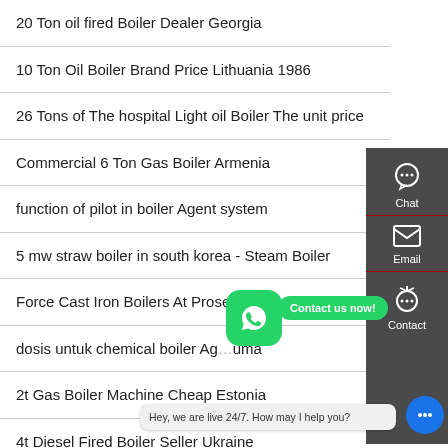20 Ton oil fired Boiler Dealer Georgia
10 Ton Oil Boiler Brand Price Lithuania 1986
26 Tons of The hospital Light oil Boiler The unit price
Commercial 6 Ton Gas Boiler Armenia
function of pilot in boiler Agent system
5 mw straw boiler in south korea - Steam Boiler
Force Cast Iron Boilers At Proselec
dosis untuk chemical boiler Ag...uma
2t Gas Boiler Machine Cheap Estonia
4t Diesel Fired Boiler Seller Ukraine